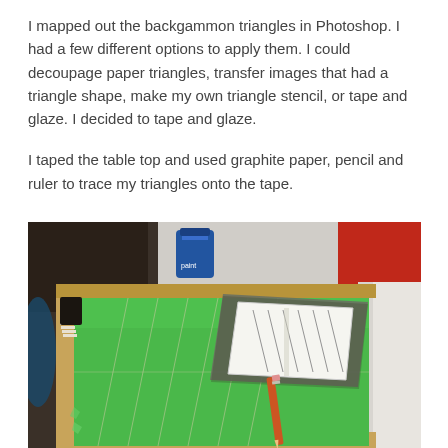I mapped out the backgammon triangles in Photoshop. I had a few different options to apply them. I could decoupage paper triangles, transfer images that had a triangle shape, make my own triangle stencil, or tape and glaze. I decided to tape and glaze.
I taped the table top and used graphite paper, pencil and ruler to trace my triangles onto the tape.
[Figure (photo): A green-taped table top (backgammon board in progress) with pencil-drawn triangle lines on the tape, a piece of graphite paper and a ruler/template sheet with triangle outlines on top, and a pencil resting on the green surface. Workshop supplies visible in the background including a blue paint can and red panel.]